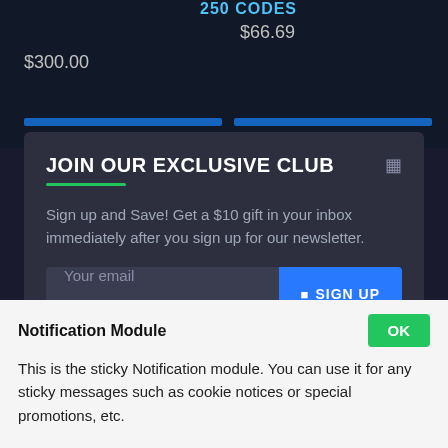250 CODES
$66.69
$300.00
JOIN OUR EXCLUSIVE CLUB
Sign up and Save! Get a $10 gift in your inbox immediately after you sign up for our newsletter.
Your email
SIGN UP
I have read and agree to the Privacy Policy
Notification Module
This is the sticky Notification module. You can use it for any sticky messages such as cookie notices or special promotions, etc.